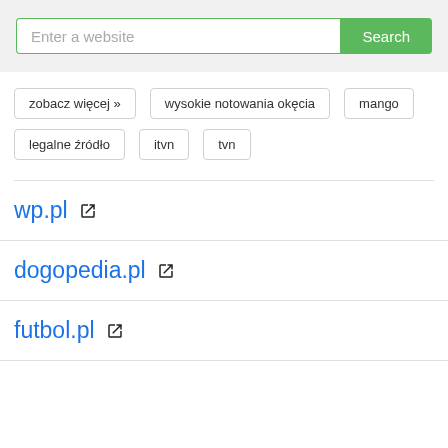[Figure (screenshot): Search bar with placeholder 'Enter a website' and green Search button]
zobacz więcej »
wysokie notowania okęcia
mango
legalne źródło
itvn
tvn
wp.pl
dogopedia.pl
futbol.pl